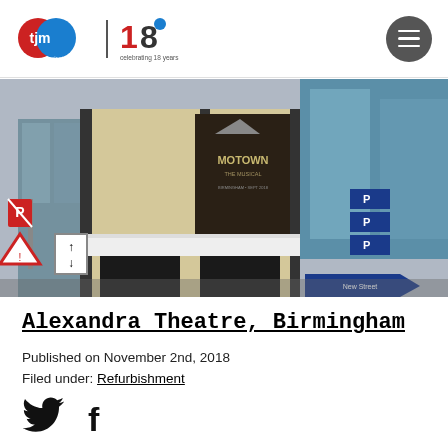tjm projects — celebrating 18 years
[Figure (photo): Street-level exterior photograph of the Alexandra Theatre, Birmingham, showing the theatre facade with a Motown musical banner, urban street with traffic signs and parking signs visible]
Alexandra Theatre, Birmingham
Published on November 2nd, 2018
Filed under: Refurbishment
[Figure (other): Twitter bird icon and Facebook 'f' icon social sharing buttons]